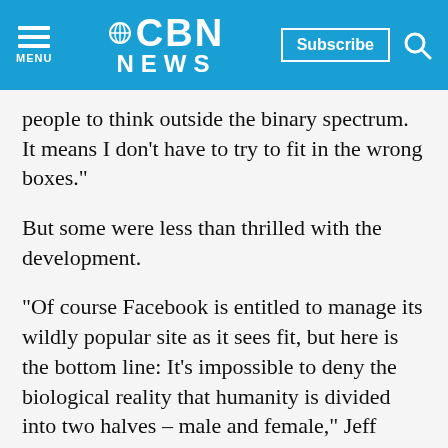CBN NEWS
people to think outside the binary spectrum. It means I don't have to try to fit in the wrong boxes."
But some were less than thrilled with the development.
"Of course Facebook is entitled to manage its wildly popular site as it sees fit, but here is the bottom line: It's impossible to deny the biological reality that humanity is divided into two halves – male and female," Jeff Johnston, an issues analyst for Focus on the Family, said.